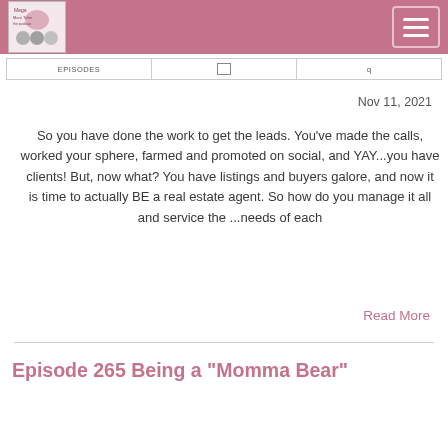Mega Mom Tribe - The Podcast [logo and hamburger menu]
Nov 11, 2021
So you have done the work to get the leads. You've made the calls, worked your sphere, farmed and promoted on social, and YAY...you have clients! But, now what? You have listings and buyers galore, and now it is time to actually BE a real estate agent. So how do you manage it all and service the ...needs of each
Read More
Episode 265 Being a "Momma Bear"